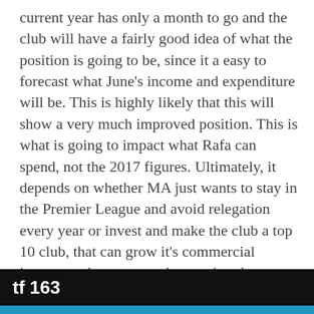current year has only a month to go and the club will have a fairly good idea of what the position is going to be, since it a easy to forecast what June's income and expenditure will be. This is highly likely that this will show a very much improved position. This is what is going to impact what Rafa can spend, not the 2017 figures. Ultimately, it depends on whether MA just wants to stay in the Premier League and avoid relegation every year or invest and make the club a top 10 club, that can grow it's commercial income and not worry about going down.
tf 163